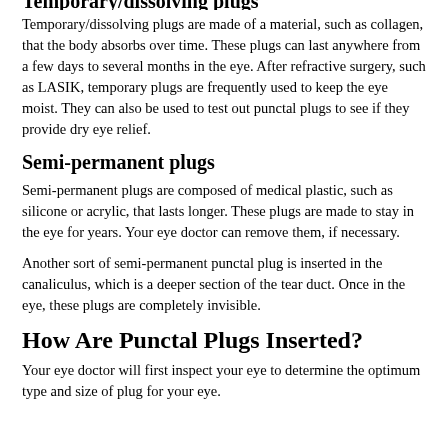Temporary/dissolving plugs
Temporary/dissolving plugs are made of a material, such as collagen, that the body absorbs over time. These plugs can last anywhere from a few days to several months in the eye. After refractive surgery, such as LASIK, temporary plugs are frequently used to keep the eye moist. They can also be used to test out punctal plugs to see if they provide dry eye relief.
Semi-permanent plugs
Semi-permanent plugs are composed of medical plastic, such as silicone or acrylic, that lasts longer. These plugs are made to stay in the eye for years. Your eye doctor can remove them, if necessary.
Another sort of semi-permanent punctal plug is inserted in the canaliculus, which is a deeper section of the tear duct. Once in the eye, these plugs are completely invisible.
How Are Punctal Plugs Inserted?
Your eye doctor will first inspect your eye to determine the optimum type and size of plug for your eye.